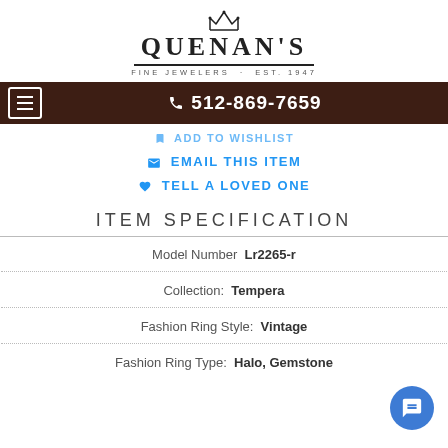[Figure (logo): Quenan's Fine Jewelers logo with crown icon, brand name, and tagline 'FINE JEWELERS · EST. 1947']
512-869-7659
ADD TO WISHLIST
EMAIL THIS ITEM
TELL A LOVED ONE
ITEM SPECIFICATION
| Field | Value |
| --- | --- |
| Model Number | Lr2265-r |
| Collection: | Tempera |
| Fashion Ring Style: | Vintage |
| Fashion Ring Type: | Halo, Gemstone |